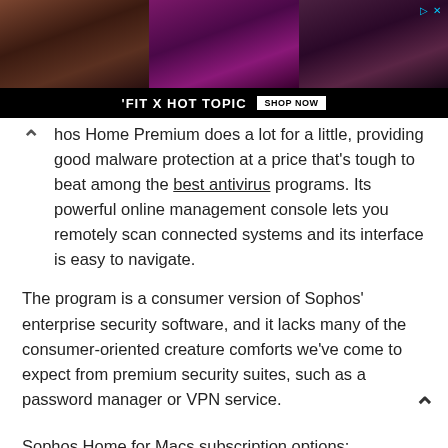[Figure (photo): Advertisement banner for 'FIT X HOT TOPIC' showing three fashion photos of young people with a 'SHOP NOW' button on a black bar at the bottom]
phos Home Premium does a lot for a little, providing good malware protection at a price that's tough to beat among the best antivirus programs. Its powerful online management console lets you remotely scan connected systems and its interface is easy to navigate.
The program is a consumer version of Sophos' enterprise security software, and it lacks many of the consumer-oriented creature comforts we've come to expect from premium security suites, such as a password manager or VPN service.
Sophos Home for Macs subscription options:
Sophos Home for Macs for $45 per year